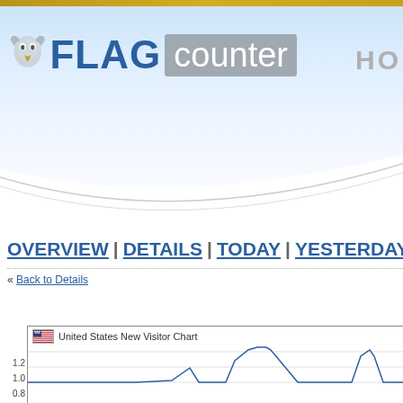[Figure (logo): Flag Counter logo with eagle icon, FLAG in blue bold text, counter in gray box]
HO
OVERVIEW | DETAILS | TODAY | YESTERDAY |
« Back to Details
[Figure (line-chart): Line chart showing United States new visitor counts over time, y-axis shows values 0.8, 1.0, 1.2, line has peaks around 1.0 with spikes visible]